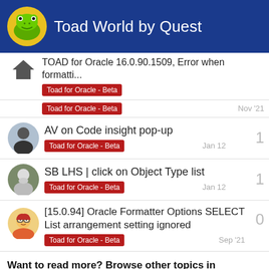Toad World by Quest
TOAD for Oracle 16.0.90.1509, Error when formatti... | Toad for Oracle - Beta
Toad for Oracle - Beta | Nov '21
AV on Code insight pop-up | Toad for Oracle - Beta | Jan 12 | 1
SB LHS | click on Object Type list | Toad for Oracle - Beta | Jan 12 | 1
[15.0.94] Oracle Formatter Options SELECT List arrangement setting ignored | Toad for Oracle - Beta | Sep '21 | 0
Want to read more? Browse other topics in Toad for Oracle - Beta or view latest topics.